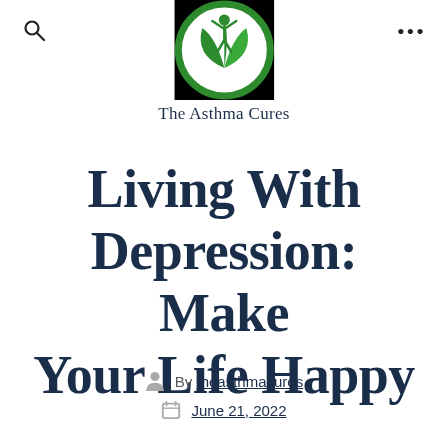The Asthma Cures
[Figure (logo): The Asthma Cures website logo: a green circle with a white human figure raising arms above green leaf shapes]
Living With Depression: Make Your Life Happy
By theasthmacures
June 21, 2022